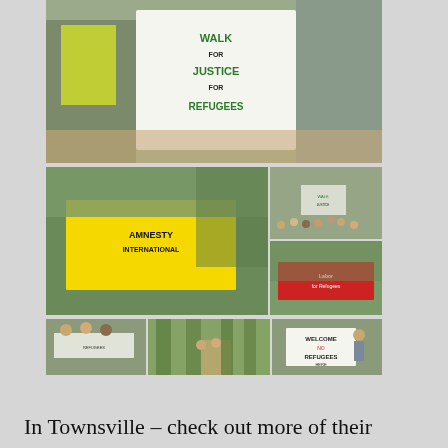[Figure (photo): Collage of photos from a refugee rights walk/march in Townsville. Top photo: participants holding a large banner reading 'WALK FOR JUSTICE FOR REFUGEES'. Middle left: group holding yellow Amnesty International banner. Middle right top: crowd marching with signs. Middle right bottom: group with red 'Labor for Refugees' banner. Bottom row: three photos of participants including one with 'WELCOME REFUGEES HERE' sign.]
In Townsville – check out more of their